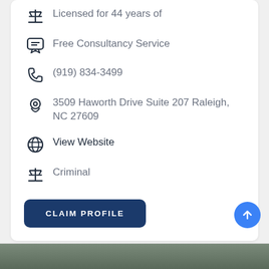Licensed for 44 years of
Free Consultancy Service
(919) 834-3499
3509 Haworth Drive Suite 207 Raleigh, NC 27609
View Website
Criminal
CLAIM PROFILE